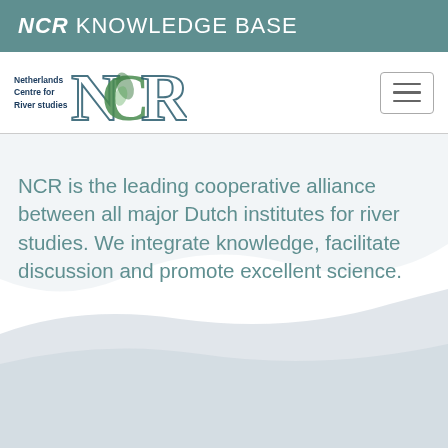NCR KNOWLEDGE BASE
[Figure (logo): Netherlands Centre for River studies NCR logo with stylized green N, C, R letters]
NCR is the leading cooperative alliance between all major Dutch institutes for river studies. We integrate knowledge, facilitate discussion and promote excellent science.